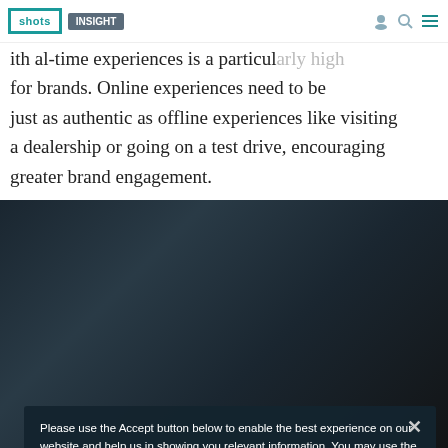shots | INSIGHT
ith al-time experiences is a particularly high for brands. Online experiences need to be just as authentic as offline experiences like visiting a dealership or going on a test drive, encouraging greater brand engagement.
[Figure (screenshot): Cookie consent overlay dialog on a website showing a dark car interior image background. The dialog reads: Please use the Accept button below to enable the best experience on our website and help us in showing you relevant information. You may use the Opt-Out button below to opt-out of Extreme Reach's use of cookies and similar technologies for advertising purposes. To exercise other rights you may have related to cookies, select More Info or see this 'Do Not Sell My Personal Information' link. Buttons: Accept, Opt-Out, More Info.]